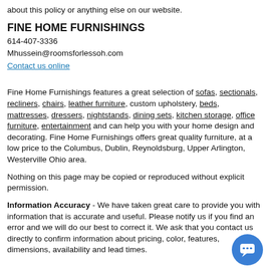about this policy or anything else on our website.
FINE HOME FURNISHINGS
614-407-3336
Mhussein@roomsforlessoh.com
Contact us online
Fine Home Furnishings features a great selection of sofas, sectionals, recliners, chairs, leather furniture, custom upholstery, beds, mattresses, dressers, nightstands, dining sets, kitchen storage, office furniture, entertainment and can help you with your home design and decorating. Fine Home Furnishings offers great quality furniture, at a low price to the Columbus, Dublin, Reynoldsburg, Upper Arlington, Westerville Ohio area.
Nothing on this page may be copied or reproduced without explicit permission.
Information Accuracy - We have taken great care to provide you with information that is accurate and useful. Please notify us if you find an error and we will do our best to correct it. We ask that you contact us directly to confirm information about pricing, color, features, dimensions, availability and lead times.